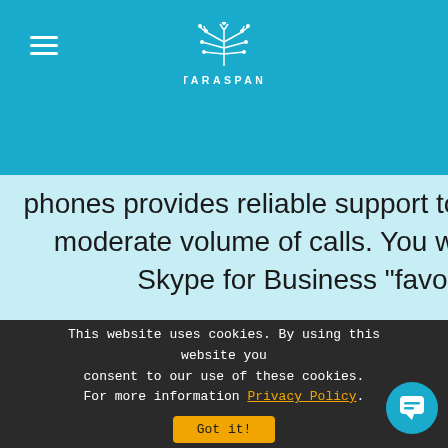TARASPAN
phones provides reliable support to the cubicle workers who handle from low to moderate volume of calls. You would be able to get easy access to up to 5 Skype for Business "favorites" along with their contact cards.
[Figure (illustration): Chat popup with avatar showing 'Got any questions? I'm happy to help.' with a close (x) button]
Got any questions? I'm happy to help.
This website uses cookies. By using this website you consent to our use of these cookies. For more information Privacy Policy. Got it!